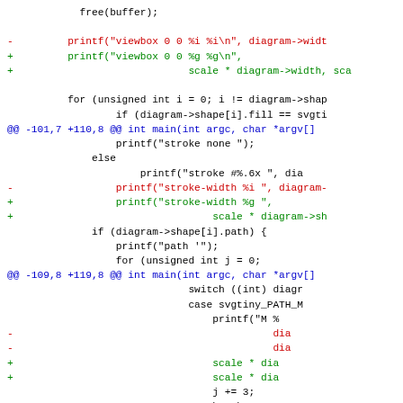Code diff showing changes to printf calls for viewbox, stroke-width, and path coordinate handling, converting integer format specifiers to floating point with scale factors.